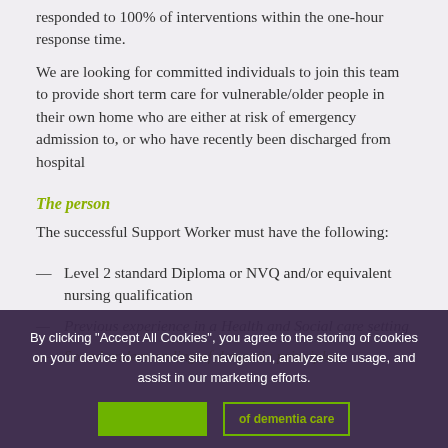responded to 100% of interventions within the one-hour response time.
We are looking for committed individuals to join this team to provide short term care for vulnerable/older people in their own home who are either at risk of emergency admission to, or who have recently been discharged from hospital
The person
The successful Support Worker must have the following:
Level 2 standard Diploma or NVQ and/or equivalent nursing qualification
Previous experience in a Health and Social Se... (obscured)
Sound understanding of dementia principles
By clicking "Accept All Cookies", you agree to the storing of cookies on your device to enhance site navigation, analyze site usage, and assist in our marketing efforts.